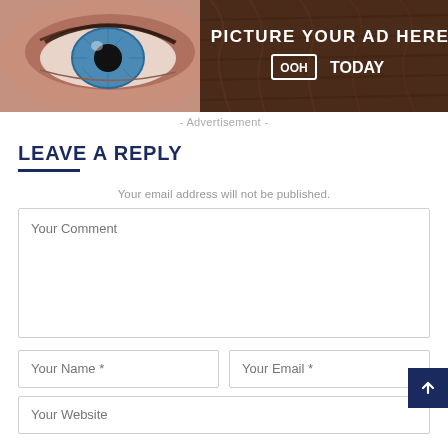[Figure (illustration): Advertisement banner showing a close-up of a blue eye on the left and text 'PICTURE YOUR AD HERE' with 'OOH TODAY' logo on a dark brown/wood background on the right.]
- Advertisement -
LEAVE A REPLY
Your email address will not be published.
Your Comment
Your Name *
Your Email *
Your Website